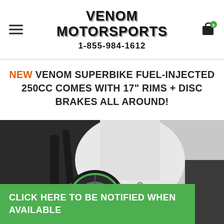VENOM MOTORSPORTS 1-855-984-1612
NEW VENOM SUPERBIKE FUEL-INJECTED 250CC COMES WITH 17" RIMS + DISC BRAKES ALL AROUND!
[Figure (photo): Close-up photo of a motorcycle front wheel and disc brake, white fairing visible, green rim accent]
CLICK HERE TO BE NOTIFIED WHEN AVAILABLE